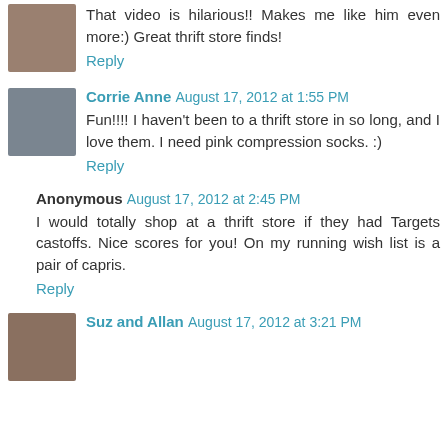That video is hilarious!! Makes me like him even more:) Great thrift store finds!
Reply
Corrie Anne  August 17, 2012 at 1:55 PM
Fun!!!! I haven't been to a thrift store in so long, and I love them. I need pink compression socks. :)
Reply
Anonymous  August 17, 2012 at 2:45 PM
I would totally shop at a thrift store if they had Targets castoffs. Nice scores for you! On my running wish list is a pair of capris.
Reply
Suz and Allan  August 17, 2012 at 3:21 PM